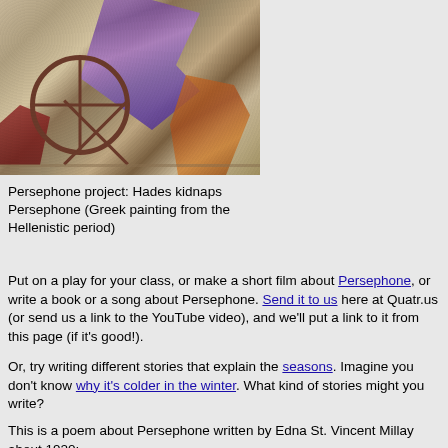[Figure (photo): Greek painting from the Hellenistic period showing the abduction of Persephone by Hades. A chariot wheel is visible in dark reddish-brown, with purple flowing fabric/robes and orange-brown figures on a sandy/stone textured background.]
Persephone project: Hades kidnaps Persephone (Greek painting from the Hellenistic period)
Put on a play for your class, or make a short film about Persephone, or write a book or a song about Persephone. Send it to us here at Quatr.us (or send us a link to the YouTube video), and we'll put a link to it from this page (if it's good!).
Or, try writing different stories that explain the seasons. Imagine you don't know why it's colder in the winter. What kind of stories might you write?
This is a poem about Persephone written by Edna St. Vincent Millay about 1920: